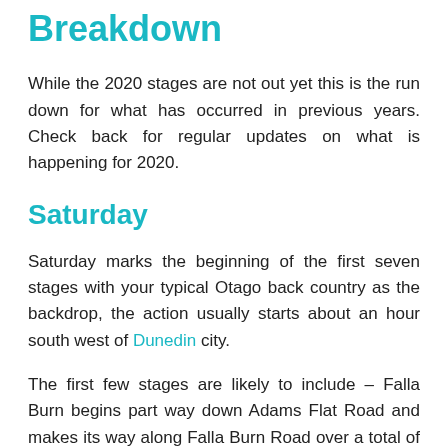Breakdown
While the 2020 stages are not out yet this is the run down for what has occurred in previous years. Check back for regular updates on what is happening for 2020.
Saturday
Saturday marks the beginning of the first seven stages with your typical Otago back country as the backdrop, the action usually starts about an hour south west of Dunedin city.
The first few stages are likely to include – Falla Burn begins part way down Adams Flat Road and makes its way along Falla Burn Road over a total of 11.9 km. Goose Neck, the second stage begins on the nearby Blackburn Road and makes its way around the infamous 'Gooseneck' and heads